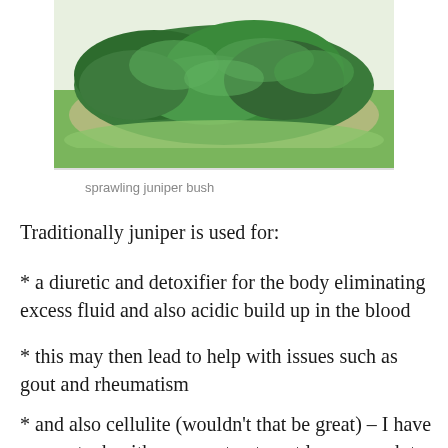[Figure (photo): A sprawling juniper bush with dense green foliage arranged in a rounded oval bed surrounded by lawn grass.]
sprawling juniper bush
Traditionally juniper is used for:
* a diuretic and detoxifier for the body eliminating excess fluid and also acidic build up in the blood
* this may then lead to help with issues such as gout and rheumatism
* and also cellulite (wouldn’t that be great) – I have never stuck with any one treatment long enough to know if anything helps with that